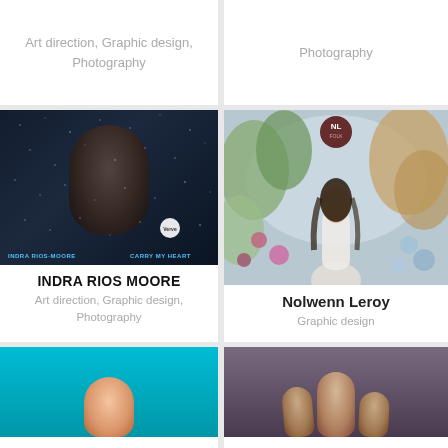Art direction, Graphic design, Photography
Photography
[Figure (photo): Album cover: Indra Rios-Moore 'Carry My Heart' - dark moody portrait of a woman through rainy glass]
INDRA RIOS MOORE
Art direction, Graphic design, Photography
[Figure (photo): Album cover: Nolwenn Leroy 'Folk' - woman in white dress among flowers with NL Folk logo]
Nolwenn Leroy
Graphic design
[Figure (photo): Bottom left: portrait of a person against teal/cyan background]
[Figure (photo): Bottom right: portrait of two or three people against dark purple-brown background]